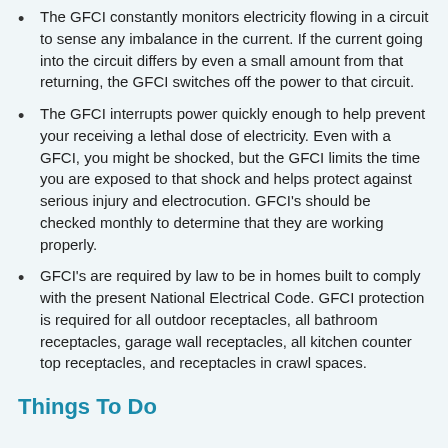The GFCI constantly monitors electricity flowing in a circuit to sense any imbalance in the current. If the current going into the circuit differs by even a small amount from that returning, the GFCI switches off the power to that circuit.
The GFCI interrupts power quickly enough to help prevent your receiving a lethal dose of electricity. Even with a GFCI, you might be shocked, but the GFCI limits the time you are exposed to that shock and helps protect against serious injury and electrocution. GFCI's should be checked monthly to determine that they are working properly.
GFCI's are required by law to be in homes built to comply with the present National Electrical Code. GFCI protection is required for all outdoor receptacles, all bathroom receptacles, garage wall receptacles, all kitchen counter top receptacles, and receptacles in crawl spaces.
Things To Do